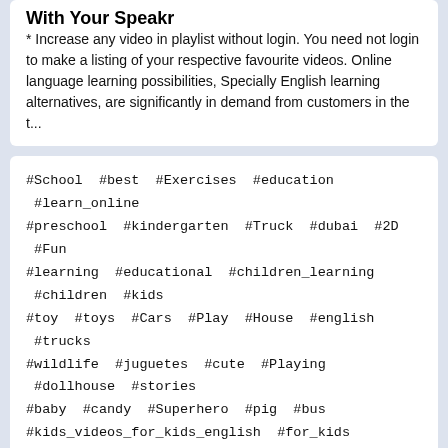With Your Speakr
* Increase any video in playlist without login. You need not login to make a listing of your respective favourite videos. Online language learning possibilities, Specially English learning alternatives, are significantly in demand from customers in the t...
#School #best #Exercises #education #learn_online #preschool #kindergarten #Truck #dubai #2D #Fun #learning #educational #children_learning #children #kids #toy #toys #Cars #Play #House #english #trucks #wildlife #juguetes #cute #Playing #dollhouse #stories #baby #candy #Superhero #pig #bus #kids_videos_for_kids_english #for_kids #diana_and_roma #kids_videos #diana #kids_play #videos_for_kids #baby_songs #nursery_rhymes #abc #toddler #kids_songs #toys_for_kids #play_with_toys #roma_and_diana #educational_videos_for_toddlers #alphabet #kids_diana_show #songs_for_kids #cocomelon #sing #wash_your_hands #kids_entertainment #stories_for_kids #learn_english #children_songs #kids_toys #roma #pretend_play #123 #diana_y_roma #diana_roma #letter_boxes #abc_boxes #learn_the_alphabet #numbers